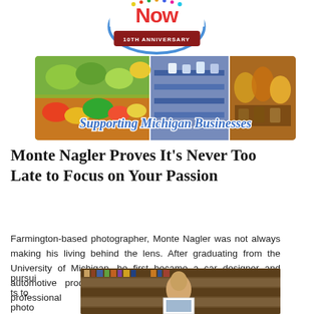[Figure (logo): Michigan Now 10th Anniversary logo with blue circle and red banner]
[Figure (photo): Banner image showing three panels: vegetables/produce, retail store interior, and amber-colored drinks/bottles, with 'Supporting Michigan Businesses' text overlay in blue italic script]
Monte Nagler Proves It’s Never Too Late to Focus on Your Passion
Farmington-based photographer, Monte Nagler was not always making his living behind the lens. After graduating from the University of Michigan, he first became a car designer and automotive product planner. Eventually Monte turned his professional pursuits to photograph
[Figure (photo): Photo of Monte Nagler, an older man with glasses, smiling and standing in front of bookshelves, holding a framed photograph]